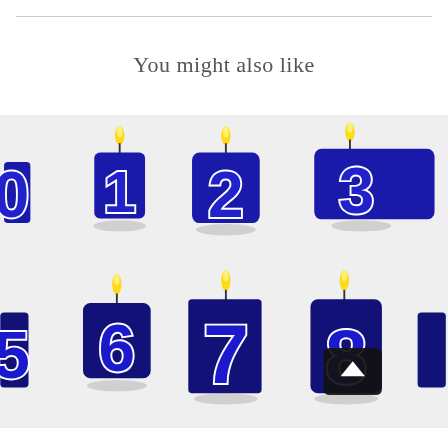You might also like
[Figure (photo): Photo of blue number-shaped birthday candles arranged in a 2×4 grid. Top row shows candles shaped as numbers 1, 2, 3 (and partially a 4th). Bottom row shows candles shaped as numbers 6, 7, 8 (and partially a 9th). Each candle has a lit yellow flame on top. The numbers are rendered in dark blue with a white outline border. A small black UI element (scroll/navigation button) overlays the number 8 candle. The background is light gray.]